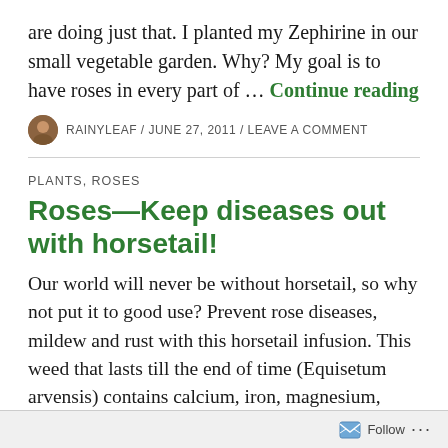are doing just that.  I planted my Zephirine in our small vegetable garden.  Why?  My goal is to have roses in every part of … Continue reading
RAINYLEAF / JUNE 27, 2011 / LEAVE A COMMENT
PLANTS, ROSES
Roses—Keep diseases out with horsetail!
Our world will never be without horsetail, so why not put it to good use?  Prevent rose diseases, mildew and rust with this horsetail infusion.  This weed that lasts till the end of time (Equisetum arvensis) contains calcium, iron, magnesium, molybdenum, potassium and sulfur.  Good stuff for a foliar spray.  Dry horsetail plants, crush them and store in an airtight container.  To
Follow